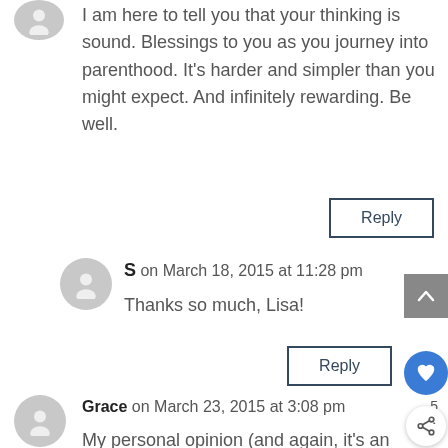I am here to tell you that your thinking is sound. Blessings to you as you journey into parenthood. It's harder and simpler than you might expect. And infinitely rewarding. Be well.
Reply
S on March 18, 2015 at 11:28 pm
Thanks so much, Lisa!
Reply
Grace on March 23, 2015 at 3:08 pm
My personal opinion (and again, it's an